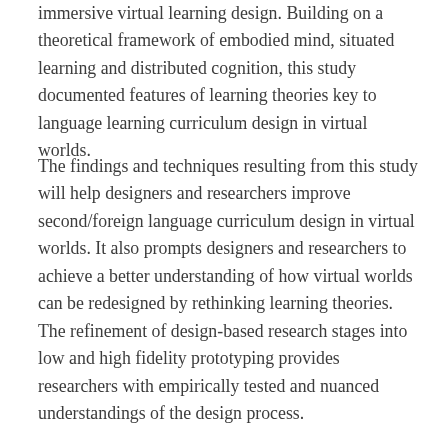immersive virtual learning design. Building on a theoretical framework of embodied mind, situated learning and distributed cognition, this study documented features of learning theories key to language learning curriculum design in virtual worlds.
The findings and techniques resulting from this study will help designers and researchers improve second/foreign language curriculum design in virtual worlds. It also prompts designers and researchers to achieve a better understanding of how virtual worlds can be redesigned by rethinking learning theories. The refinement of design-based research stages into low and high fidelity prototyping provides researchers with empirically tested and nuanced understandings of the design process.